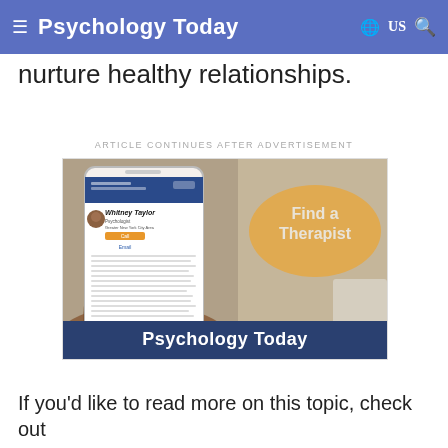Psychology Today  US
nurture healthy relationships.
ARTICLE CONTINUES AFTER ADVERTISEMENT
[Figure (advertisement): Psychology Today 'Find a Therapist' advertisement showing a hand holding a smartphone with a therapist profile (Whitney Taylor, Psychologist) and an orange bubble with text 'Find a Therapist'. The ad has a blue footer with 'Psychology Today' branding.]
If you'd like to read more on this topic, check out